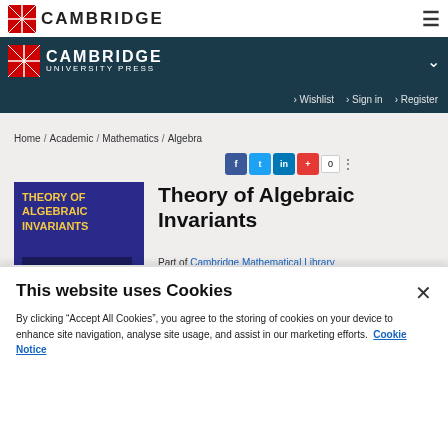CAMBRIDGE
CAMBRIDGE UNIVERSITY PRESS
Wishlist  Sign in  Register
Home / Academic / Mathematics / Algebra
[Figure (logo): Cambridge shield logo top nav]
[Figure (logo): Cambridge University Press shield logo]
[Figure (illustration): Book cover: Theory of Algebraic Invariants, dark blue background with yellow title text]
Theory of Algebraic Invariants
Part of Cambridge Mathematical Library
This website uses Cookies
By clicking “Accept All Cookies”, you agree to the storing of cookies on your device to enhance site navigation, analyse site usage, and assist in our marketing efforts. Cookie Notice